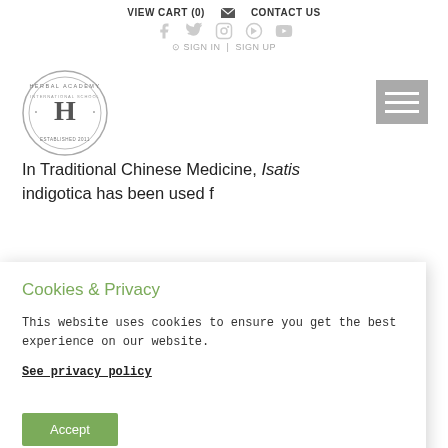VIEW CART (0)   CONTACT US
[Figure (logo): Herbal Academy International School circular stamp logo with letter H in center, established 2011]
[Figure (other): Hamburger menu icon (three horizontal lines) on grey background]
In Traditional Chinese Medicine, Isatis indigotica has been used f...
Cookies & Privacy
This website uses cookies to ensure you get the best experience on our website.
See privacy policy
Accept
the body during both viral and bacterial